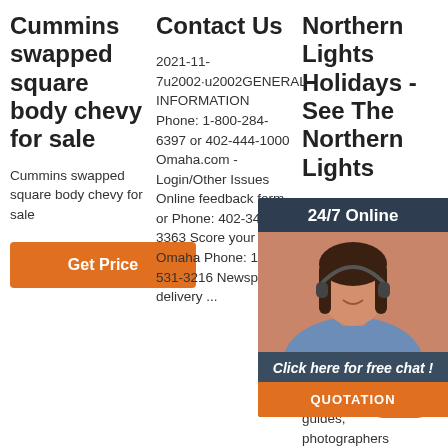Cummins swapped square body chevy for sale
Cummins swapped square body chevy for sale
Get Price
Contact Us
2021-11-7u2002·u2002GENERAL INFORMATION Phone: 1-800-284-6397 or 402-444-1000 Omaha.com - Login/Other Issues Online feedback form or Phone: 402-346-3363 Score your Deal Omaha Phone: 1-877-531-3216 Newspaper delivery ...
Northern Lights Holidays - See The Northern Lights
2021-15u2002Aurora THE our Northern holidays We have an extensive range of trusted and knowledgeable guides, photographers and experts and
[Figure (photo): Chat support popup overlay showing a woman with headset, labeled '24/7 Online', with 'Click here for free chat!' text and 'QUOTATION' button]
[Figure (other): Orange and red TOP button with dots above]